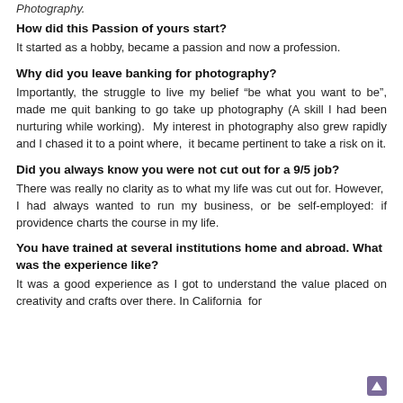Photography.
How did this Passion of yours start?
It started as a hobby, became a passion and now a profession.
Why did you leave banking for photography?
Importantly, the struggle to live my belief “be what you want to be”, made me quit banking to go take up photography (A skill I had been nurturing while working).  My interest in photography also grew rapidly and I chased it to a point where,  it became pertinent to take a risk on it.
Did you always know you were not cut out for a 9/5 job?
There was really no clarity as to what my life was cut out for. However,  I had always wanted to run my business, or be self-employed: if providence charts the course in my life.
You have trained at several institutions home and abroad. What was the experience like?
It was a good experience as I got to understand the value placed on creativity and crafts over there. In California  for